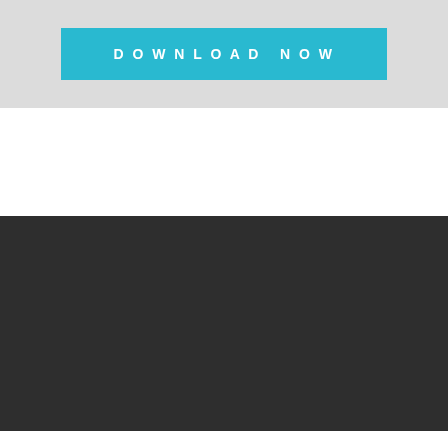Download now
©2022 Max2Play · Powered by Netzberater.de
Max2Play Shop   Newsletter   Contact   Privacy Policy
Site Notice
Max2Play uses Cookies for user-login and improving user experience. When using the Max2Play-Website, you agree with the usage of Browser-Cookies.
Accept   More Information